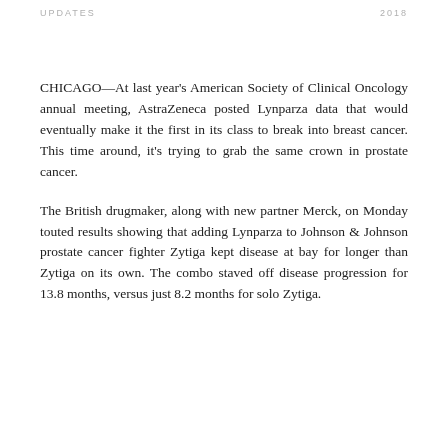UPDATES   2018
CHICAGO—At last year's American Society of Clinical Oncology annual meeting, AstraZeneca posted Lynparza data that would eventually make it the first in its class to break into breast cancer. This time around, it's trying to grab the same crown in prostate cancer.
The British drugmaker, along with new partner Merck, on Monday touted results showing that adding Lynparza to Johnson & Johnson prostate cancer fighter Zytiga kept disease at bay for longer than Zytiga on its own. The combo staved off disease progression for 13.8 months, versus just 8.2 months for solo Zytiga.